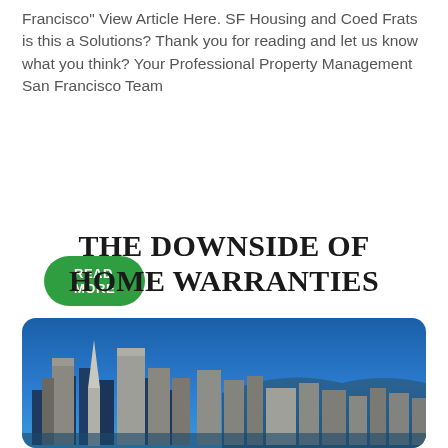Francisco" View Article Here. SF Housing and Coed Frats is this a Solutions? Thank you for reading and let us know what you think? Your Professional Property Management San Francisco Team
READ MORE
THE DOWNSIDE OF HOME WARRANTIES
[Figure (photo): San Francisco city skyline panorama with blue sky and bay in background, rounded corners]